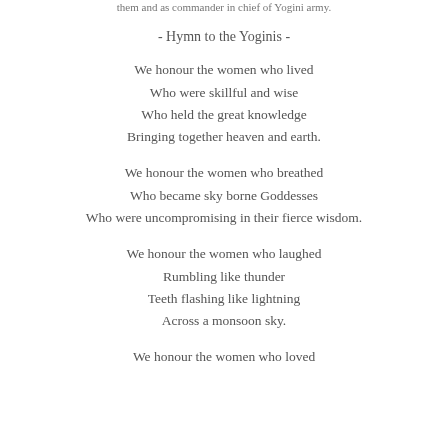them and as commander in chief of Yogini army.
- Hymn to the Yoginis -
We honour the women who lived
Who were skillful and wise
Who held the great knowledge
Bringing together heaven and earth.
We honour the women who breathed
Who became sky borne Goddesses
Who were uncompromising in their fierce wisdom.
We honour the women who laughed
Rumbling like thunder
Teeth flashing like lightning
Across a monsoon sky.
We honour the women who loved